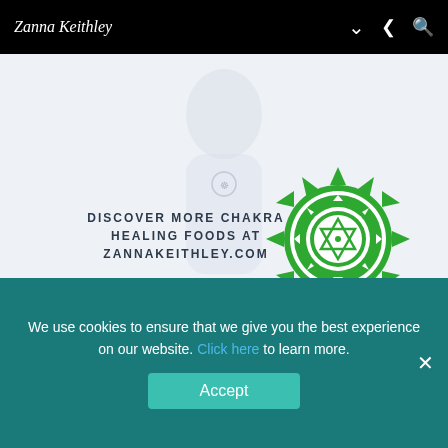Zanna Keithley
[Figure (infographic): Healing Heart Chakra Foods infographic showing a green mandala/chakra symbol with a Star of David inside, surrounded by spiky green lotus petals. Text reads: DISCOVER MORE CHAKRA HEALING FOODS AT ZANNAKEITHLEY.COM. Background shows a faint body silhouette with chakra points.]
Healing Heart Chakra Foods
Heart-healthy leafy green vegetables
Green tea
We use cookies to ensure that we give you the best experience on our website. Click here to learn more.
Accept